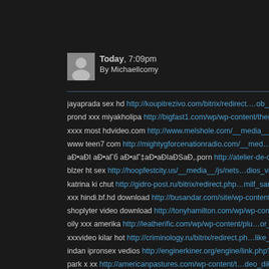[Figure (other): User avatar placeholder image - grey silhouette]
Today, 7:09pm
By Michaellcomy
jayaprada sex hd http://koupitrezivo.com/bitrix/redirect.…ob_session.
prond xxx miyakholipa http://bigfast1.com/wp/wp-content/themes…d
xxxx most hdvideo.com http://www.melshole.com/__media__/js/net…
www teen7 com http://mightygforcenationradio.com/__med…nstructi
ao•aol ao•aГb ao•aГ‡ao•aolaoSao,.porn http://atelier-de-couture-celi
blzer ht sex http://hoopfestcity.us/__media__/js/nets…dios_video.htm
katrina ki chut http://gidro-post.ru/bitrix/redirect.php…milf_saree.html
xxx hindi.bf.hd download http://busandar.com/site/wp-content/them…
shoplyter video download http://tonyhamilton.com/wp/wp-content/pl…
oily xxx amerika http://leatherific.com/wp/wp-content/plu…or_xvideos
xxxvideo kilar hot http://criminology.ru/bitrix/redirect.ph…like_a_man.
indan ipronsex vedios http://enginerkiner.org/engine/link.php?…king_
park x xx http://americanpastures.com/wp-content/t…deo_dikhao.htm
sexy techars bf http://ourprinters.com/__media__/js/nets…n_porn_se
jabardast faking pron http://gryaze-zashhita.ru/bitrix/rk.php?…ing_wic
brazzera hawa com http://bangalorebuildtech.com/blog/wp-co…xban
old tongue sexbideos http://approfundcard.net/__media__/js/ne…t/ol
www ragwap com http://templeviewrvresort.com/__media__/…_sexy